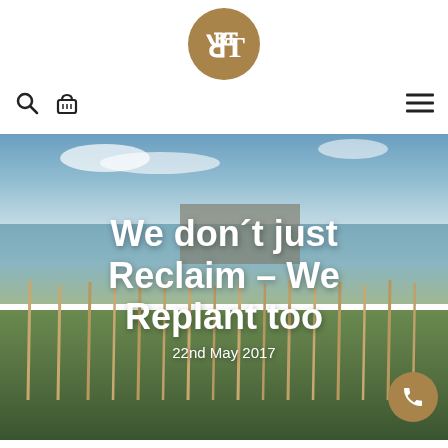[Figure (logo): Round golden/tan circle with stylized 'RT' or reclaim timber logo in white serif font]
[Figure (screenshot): Website navigation bar with search icon (magnifying glass), basket icon, and hamburger menu icon on the right]
[Figure (photo): Outdoor photo showing a row of young planted trees/stakes along a waterfront with buildings and blue sky in the background. White bold text overlaid reads 'We don´t just Reclaim – We Replant too' with date '22nd May 2017']